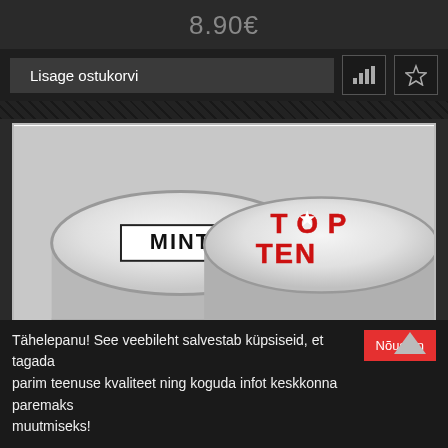8.90€
Lisage ostukorvi
[Figure (photo): Two round white puck-shaped tins of snus/mint product. Left tin shows 'MINT' label in black text with border. Right tin shows 'TOP TEN' logo in bold red text with a star replacing the 'O'.]
Tähelepanu! See veebileht salvestab küpsiseid, et tagada parim teenuse kvaliteet ning koguda infot keskkonna paremaks muutmiseks!